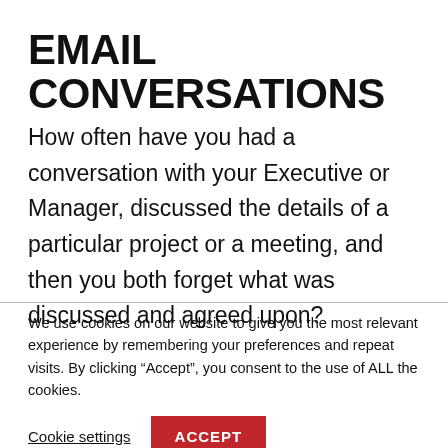EMAIL CONVERSATIONS
How often have you had a conversation with your Executive or Manager, discussed the details of a particular project or a meeting, and then you both forget what was discussed and agreed upon?
We use cookies on our website to give you the most relevant experience by remembering your preferences and repeat visits. By clicking “Accept”, you consent to the use of ALL the cookies.
Cookie settings  ACCEPT